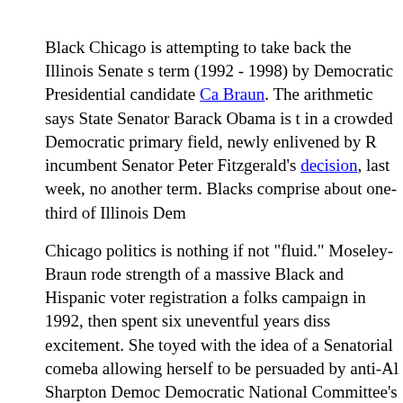Black Chicago is attempting to take back the Illinois Senate s term (1992 - 1998) by Democratic Presidential candidate Carol Moseley Braun. The arithmetic says State Senator Barack Obama is t in a crowded Democratic primary field, newly enlivened by R incumbent Senator Peter Fitzgerald's decision, last week, no another term. Blacks comprise about one-third of Illinois Dem
Chicago politics is nothing if not "fluid." Moseley-Braun rode strength of a massive Black and Hispanic voter registration a folks campaign in 1992, then spent six uneventful years diss excitement. She toyed with the idea of a Senatorial comeba allowing herself to be persuaded by anti-Al Sharpton Democ Democratic National Committee's Donna Brazile that she ha calling.
That complicated Rev. Sharpton's life, but left the African Am open to Obama, who has the backing of Black Chicago Cong K. Davis and Jesse Jackson, Jr. Rep. Jackson felt compelle reaffirmation of support for Obama with a disclaimer. "For th if I'm interested in filling Sen. Fitzgerald's seat, I am not. I re serve the people of the 2nd Congressional District and stron Senator Barack Obama for U.S. Senate."
Obama, who was the first Black president of the Harvard Law